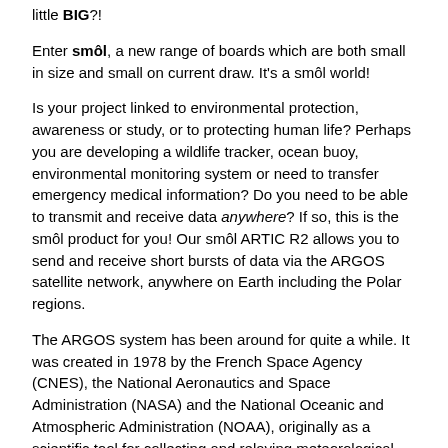little BIG?!
Enter smôl, a new range of boards which are both small in size and small on current draw. It's a smôl world!
Is your project linked to environmental protection, awareness or study, or to protecting human life? Perhaps you are developing a wildlife tracker, ocean buoy, environmental monitoring system or need to transfer emergency medical information? Do you need to be able to transmit and receive data anywhere? If so, this is the smôl product for you! Our smôl ARTIC R2 allows you to send and receive short bursts of data via the ARGOS satellite network, anywhere on Earth including the Polar regions.
The ARGOS system has been around for quite a while. It was created in 1978 by the French Space Agency (CNES), the National Aeronautics and Space Administration (NASA) and the National Oceanic and Atmospheric Administration (NOAA), originally as a scientific tool for collecting and relaying meteorological and oceanographic data around the world. Today, ARGOS is revolutionising satellite communication, adding a constellation of 25 nanosatellites to complement the 7 traditional satellites carrying ARGOS instrumentation. The first of these, ANGEL, is already in operation and Speed...